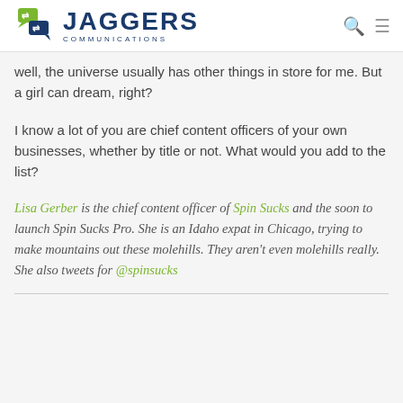Jaggers Communications
well, the universe usually has other things in store for me. But a girl can dream, right?
I know a lot of you are chief content officers of your own businesses, whether by title or not. What would you add to the list?
Lisa Gerber is the chief content officer of Spin Sucks and the soon to launch Spin Sucks Pro. She is an Idaho expat in Chicago, trying to make mountains out these molehills. They aren't even molehills really. She also tweets for @spinsucks